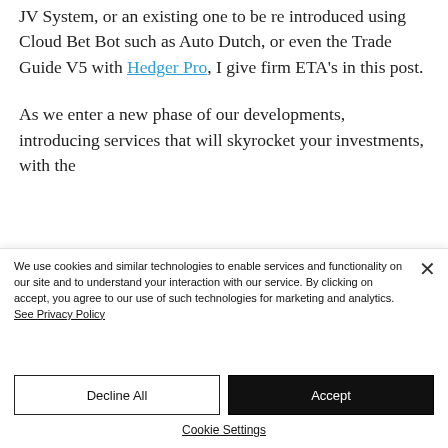JV System, or an existing one to be re introduced using Cloud Bet Bot such as Auto Dutch, or even the Trade Guide V5 with Hedger Pro, I give firm ETA's in this post.
As we enter a new phase of our developments, introducing services that will skyrocket your investments, with the
We use cookies and similar technologies to enable services and functionality on our site and to understand your interaction with our service. By clicking on accept, you agree to our use of such technologies for marketing and analytics. See Privacy Policy
Decline All
Accept
Cookie Settings